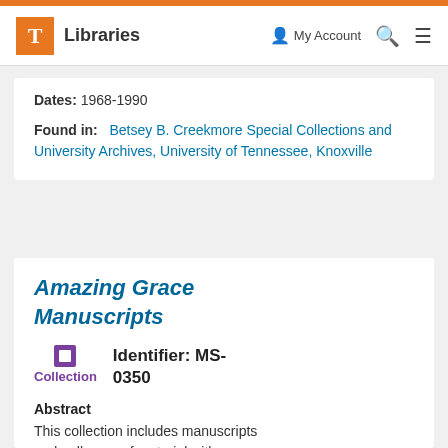T Libraries | My Account | Search | Menu
Dates: 1968-1990
Found in: Betsey B. Creekmore Special Collections and University Archives, University of Tennessee, Knoxville
Amazing Grace Manuscripts
Collection   Identifier: MS-0350
Abstract
This collection includes manuscripts and galley proof material with